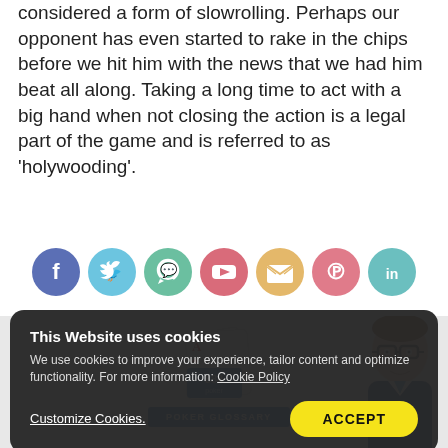considered a form of slowrolling. Perhaps our opponent has even started to rake in the chips before we hit him with the news that we had him beat all along. Taking a long time to act with a big hand when not closing the action is a legal part of the game and is referred to as 'holywooding'.
[Figure (infographic): Social media sharing icons row: Facebook (dark blue), Twitter (light blue), WhatsApp (green), YouTube (red/pink), Email (orange/yellow), Pinterest (pink/red), LinkedIn (teal)]
[Figure (logo): 888 Poker Glossary logo with playing cards and blue ribbon banner]
[Figure (illustration): Cartoon character of a man with glasses and brown hair wearing a blue suit]
This Website uses cookies
We use cookies to improve your experience, tailor content and optimize functionality. For more information: Cookie Policy
Customize Cookies.
ACCEPT